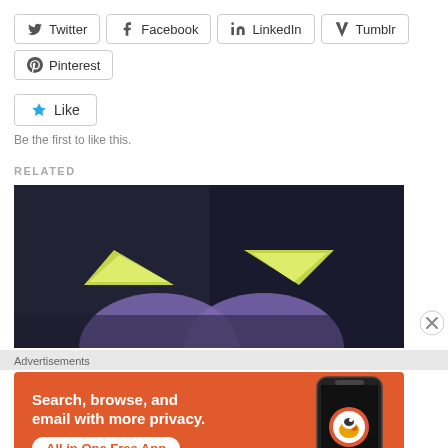Twitter
Facebook
LinkedIn
Tumblr
Pinterest
Like
Be the first to like this.
RELATED
[Figure (photo): Dark background image showing two glowing yellow-green triangular eye shapes suggesting an animated villain character, with purple shapes visible below.]
Advertisements
[Figure (infographic): DuckDuckGo advertisement banner on orange background. Text reads: Search, browse, and email with more privacy. All in One Free App. Shows DuckDuckGo logo on a smartphone on the right.]